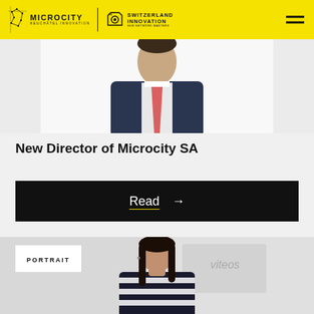MICROCITY NEUCHÂTEL INNOVATION | SWITZERLAND INNOVATION HUB NETWORK MASTERS
[Figure (photo): Man in dark suit with pink/red tie, professional portrait photo, cropped at mid-torso]
New Director of Microcity SA
Read →
[Figure (photo): Young woman with long dark hair wearing a black and white striped top, standing in what appears to be an office or innovation space with 'Viteos' signage visible in background. A white PORTRAIT label tag is overlaid on the bottom-left.]